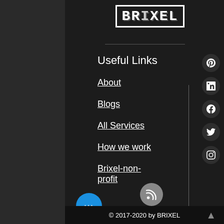[Figure (logo): BRIXEL logo in pixel-art style white text on dark background with white border]
Useful Links
About
Blogs
All Services
How we work
Brixel-non-profit
[Figure (infographic): Social media icons: Pinterest, LinkedIn, Facebook, Twitter, Instagram — dark circles with white icons]
[Figure (infographic): RSS feed button grey circle]
[Figure (infographic): Blue circle more/options button with three dots]
© 2017-2020 by BRIXEL